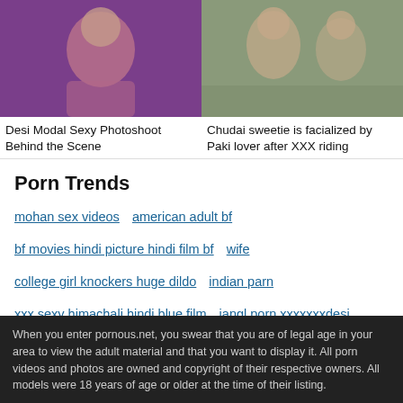[Figure (photo): Two thumbnail images side by side: left shows a woman in a purple background photoshoot, right shows two women in a similar pose]
Desi Modal Sexy Photoshoot Behind the Scene
Chudai sweetie is facialized by Paki lover after XXX riding
Porn Trends
mohan sex videos   american adult bf
bf movies hindi picture hindi film bf   wife
college girl knockers huge dildo   indian parn
xxx sexy himachali hindi blue film   jangl porn xxxxxxxdesi
malayalamsexvidios   hindi bhasha mein bf chudai video
When you enter pornous.net, you swear that you are of legal age in your area to view the adult material and that you want to display it. All porn videos and photos are owned and copyright of their respective owners. All models were 18 years of age or older at the time of their listing.